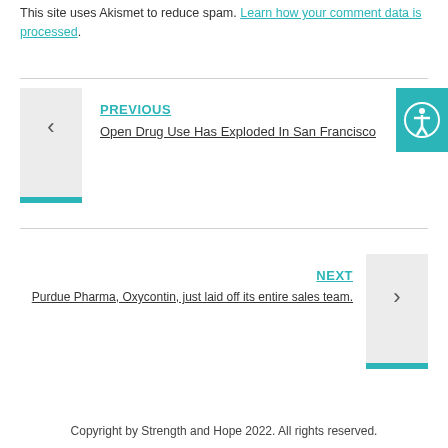This site uses Akismet to reduce spam. Learn how your comment data is processed.
< PREVIOUS
Open Drug Use Has Exploded In San Francisco
> NEXT
Purdue Pharma, Oxycontin, just laid off its entire sales team.
Copyright by Strength and Hope 2022. All rights reserved.